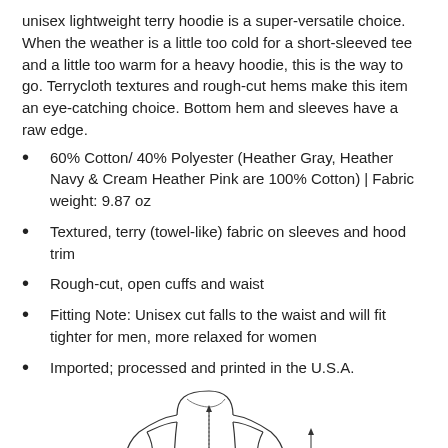unisex lightweight terry hoodie is a super-versatile choice. When the weather is a little too cold for a short-sleeved tee and a little too warm for a heavy hoodie, this is the way to go. Terrycloth textures and rough-cut hems make this item an eye-catching choice. Bottom hem and sleeves have a raw edge.
60% Cotton/ 40% Polyester (Heather Gray, Heather Navy & Cream Heather Pink are 100% Cotton) | Fabric weight: 9.87 oz
Textured, terry (towel-like) fabric on sleeves and hood trim
Rough-cut, open cuffs and waist
Fitting Note: Unisex cut falls to the waist and will fit tighter for men, more relaxed for women
Imported; processed and printed in the U.S.A.
[Figure (illustration): Line drawing diagram of a hoodie with measurement arrows labeled A, B, C indicating body length and sleeve/width measurements]